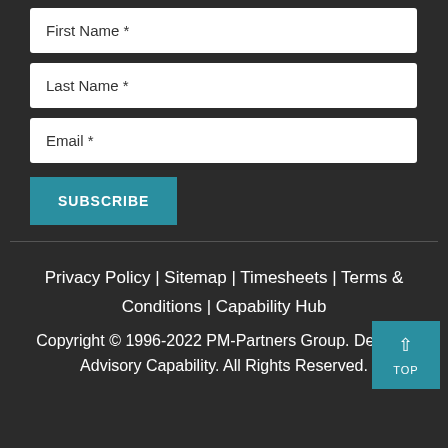First Name *
Last Name *
Email *
SUBSCRIBE
Privacy Policy | Sitemap | Timesheets | Terms & Conditions | Capability Hub
Copyright © 1996-2022 PM-Partners Group. Delivery Advisory Capability. All Rights Reserved.